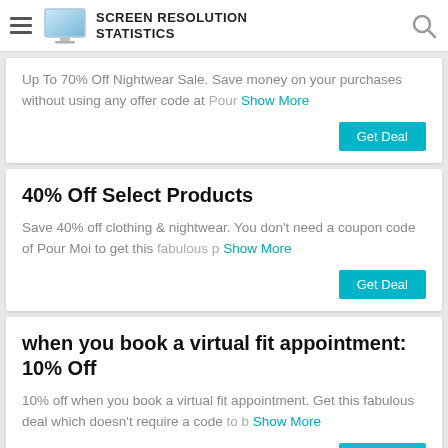SCREEN RESOLUTION STATISTICS
Up To 70% Off Nightwear Sale. Save money on your purchases without using any offer code at Pour Show More
Get Deal
40% Off Select Products
Save 40% off clothing & nightwear. You don't need a coupon code of Pour Moi to get this fabulous p Show More
Get Deal
when you book a virtual fit appointment: 10% Off
10% off when you book a virtual fit appointment. Get this fabulous deal which doesn't require a code to b Show More
Get Deal